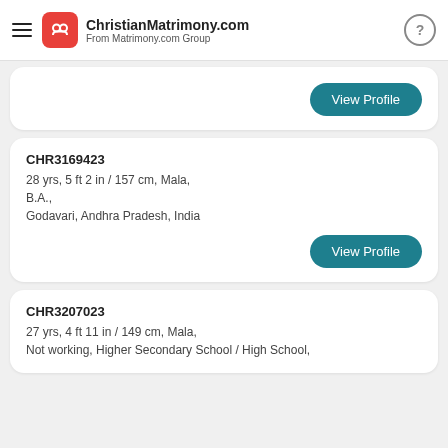ChristianMatrimony.com From Matrimony.com Group
View Profile
CHR3169423
28 yrs, 5 ft 2 in / 157 cm, Mala, B.A., Godavari, Andhra Pradesh, India
View Profile
CHR3207023
27 yrs, 4 ft 11 in / 149 cm, Mala, Not working, Higher Secondary School / High School,